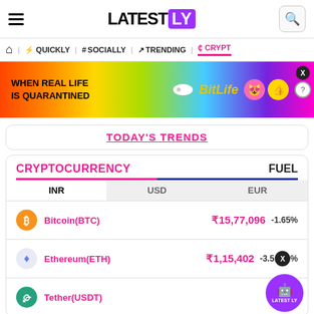LATESTLY
QUICKLY | # SOCIALLY | TRENDING | CRYPTO
[Figure (screenshot): BitLife advertisement banner with rainbow background and emoji faces]
TODAY'S TRENDS
| CRYPTOCURRENCY | FUEL |  | INR | USD | EUR |
| --- | --- | --- | --- | --- | --- |
| Bitcoin(BTC) | ₹15,77,096 | -1.65% |
| Ethereum(ETH) | ₹1,15,402 | -3.5% |
| Tether(USDT) | ₹80.2 | +% |